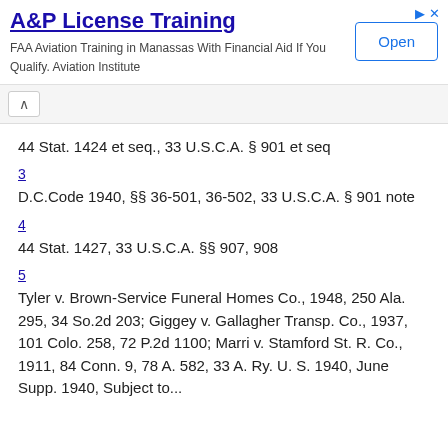[Figure (screenshot): Advertisement banner for A&P License Training. Title: 'A&P License Training'. Description: 'FAA Aviation Training in Manassas With Financial Aid If You Qualify. Aviation Institute'. Blue 'Open' button on the right. Ad icons (triangle and X) top right.]
44 Stat. 1424 et seq., 33 U.S.C.A. § 901 et seq
3
D.C.Code 1940, §§ 36-501, 36-502, 33 U.S.C.A. § 901 note
4
44 Stat. 1427, 33 U.S.C.A. §§ 907, 908
5
Tyler v. Brown-Service Funeral Homes Co., 1948, 250 Ala. 295, 34 So.2d 203; Giggey v. Gallagher Transp. Co., 1937, 101 Colo. 258, 72 P.2d 1100; Marri v. Stamford St. R. Co., 1911, 84 Conn. 9, 78 A. 582, 33 A. Ry. U. S. 1940, June Supp. 1940, Subject to...